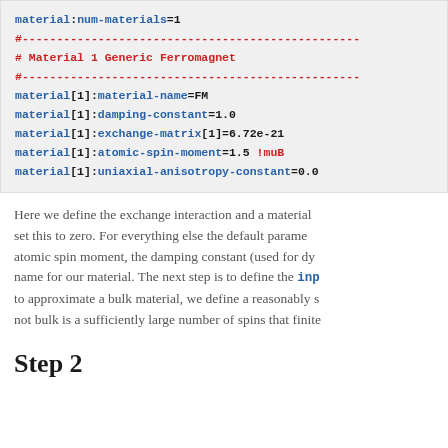material:num-materials=1
#---...
# Material 1 Generic Ferromagnet
#---...
material[1]:material-name=FM
material[1]:damping-constant=1.0
material[1]:exchange-matrix[1]=6.72e-21
material[1]:atomic-spin-moment=1.5 !muB
material[1]:uniaxial-anisotropy-constant=0.0
Here we define the exchange interaction and a material set this to zero. For everything else the default parame atomic spin moment, the damping constant (used for dy name for our material. The next step is to define the inp to approximate a bulk material, we define a reasonably s not bulk is a sufficiently large number of spins that finite
Step 2